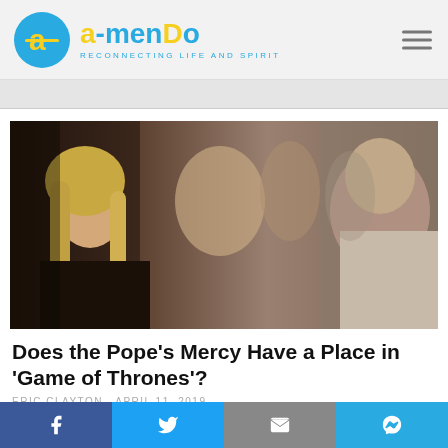amendo — RECONNECTING LIFE AND SPIRIT
[Figure (photo): Scene from Game of Thrones showing a woman with long blonde hair in dark clothing facing an older man in light robes, with other figures in the background]
Does the Pope's Mercy Have a Place in 'Game of Thrones'?
ERIC CLAYTON APRIL 11, 2019